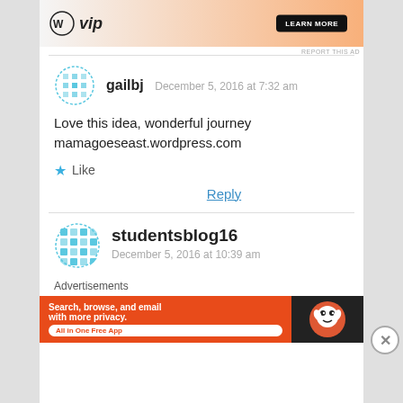[Figure (screenshot): Top ad banner with WordPress VIP logo and gradient background]
REPORT THIS AD
gailbj   December 5, 2016 at 7:32 am
Love this idea, wonderful journey mamagoeseast.wordpress.com
★ Like
Reply
studentsblog16   December 5, 2016 at 10:39 am
Advertisements
[Figure (screenshot): DuckDuckGo ad: Search, browse, and email with more privacy. All in One Free App]